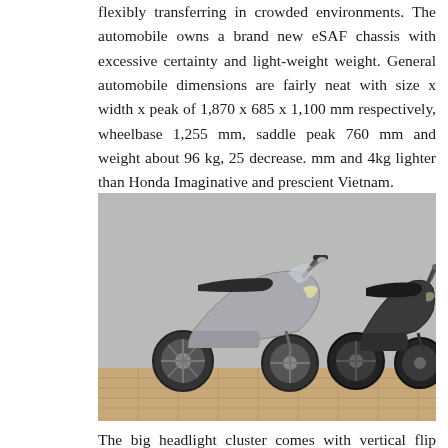flexibly transferring in crowded environments. The automobile owns a brand new eSAF chassis with excessive certainty and light-weight weight. General automobile dimensions are fairly neat with size x width x peak of 1,870 x 685 x 1,100 mm respectively, wheelbase 1,255 mm, saddle peak 760 mm and weight about 96 kg, 25 decrease. mm and 4kg lighter than Honda Imaginative and prescient Vietnam.
[Figure (photo): Two Honda scooters/motorcycles parked side by side in front of a concrete wall. The left scooter is silver/grey and the right one is dark/black. Both are similar style step-through scooters.]
The big headlight cluster comes with vertical flip indicators on the automobile's masks, the tail lamps and